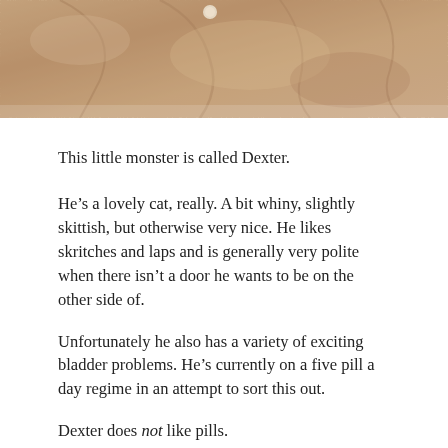[Figure (photo): Top portion of a photo showing a cat (Dexter) lying on or near a textured pinkish-brown knitted or woven fabric/blanket, with what appears to be a wooden surface visible.]
This little monster is called Dexter.
He's a lovely cat, really. A bit whiny, slightly skittish, but otherwise very nice. He likes skritches and laps and is generally very polite when there isn't a door he wants to be on the other side of.
Unfortunately he also has a variety of exciting bladder problems. He's currently on a five pill a day regime in an attempt to sort this out.
Dexter does not like pills.
We are lucky in that one of the things Dexter does not do is attack people. He might injure you in an attempt to get away when sufficiently panicked (ask me about bath time for